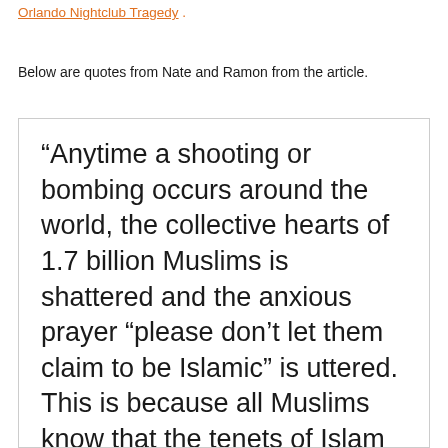Orlando Nightclub Tragedy .
Below are quotes from Nate and Ramon from the article.
“Anytime a shooting or bombing occurs around the world, the collective hearts of 1.7 billion Muslims is shattered and the anxious prayer “please don’t let them claim to be Islamic” is uttered. This is because all Muslims know that the tenets of Islam proclaim that the unjust taking of one life is equivalent of killing all of humanity.